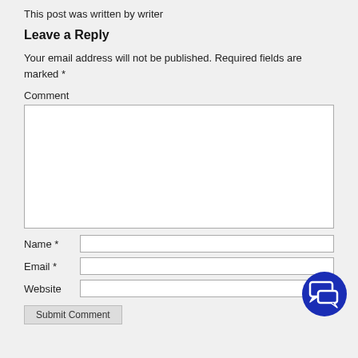This post was written by writer
Leave a Reply
Your email address will not be published. Required fields are marked *
Comment
[Figure (screenshot): Empty comment text area input box]
Name *
Email *
Website
[Figure (illustration): Dark blue circular chat/comment icon button in bottom right]
Submit button (partially visible)